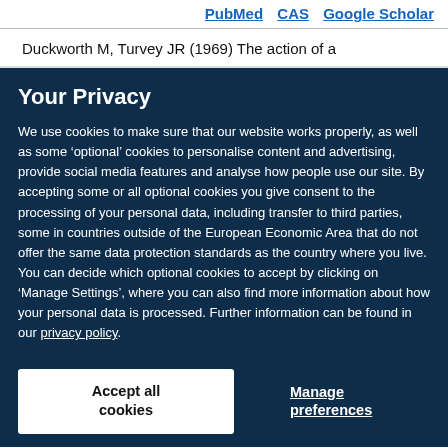PubMed   CAS   Google Scholar
Duckworth M, Turvey JR (1969) The action of a
Your Privacy
We use cookies to make sure that our website works properly, as well as some ‘optional’ cookies to personalise content and advertising, provide social media features and analyse how people use our site. By accepting some or all optional cookies you give consent to the processing of your personal data, including transfer to third parties, some in countries outside of the European Economic Area that do not offer the same data protection standards as the country where you live. You can decide which optional cookies to accept by clicking on ‘Manage Settings’, where you can also find more information about how your personal data is processed. Further information can be found in our privacy policy.
Accept all cookies
Manage preferences